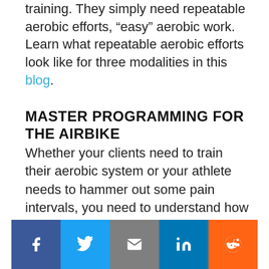training. They simply need repeatable aerobic efforts, “easy” aerobic work. Learn what repeatable aerobic efforts look like for three modalities in this blog.
MASTER PROGRAMMING FOR THE AIRBIKE
Whether your clients need to train their aerobic system or your athlete needs to hammer out some pain intervals, you need to understand how to program for their needs effectively. Learn key insights from James FitzGerald on how to best utilize the AirBike in Energy System Training and get practical applications to use with your clients, right away, in our course Programming: AirBike.
[Figure (infographic): Social share bar with five buttons: Facebook (blue), Twitter (light blue), Email (gray), LinkedIn (dark blue), Reddit (orange)]